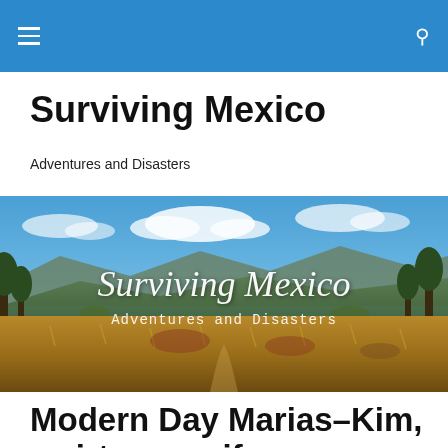Surviving Mexico
Adventures and Disasters
[Figure (photo): Wide landscape banner photo of a Mexican rural scene with dry grassland, scrub bushes, mountains in background, and blue sky with clouds. White cursive text overlay reads 'Surviving Mexico' with subtitle 'Adventures and Disasters'.]
Modern Day Marias–Kim, a virtuous wife
How did Maria and Jose's relationship change throughout their marriage? Was he supportive of Maria in their exile in